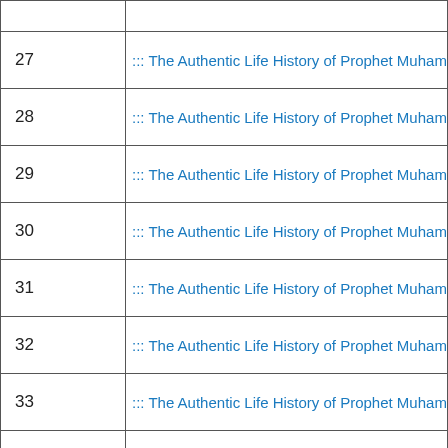| # | Link |
| --- | --- |
| 27 | ::: The Authentic Life History of Prophet Muhammad (SWA) ::: Tar |
| 28 | ::: The Authentic Life History of Prophet Muhammad (SWA) ::: Tar |
| 29 | ::: The Authentic Life History of Prophet Muhammad (SWA) ::: Tar |
| 30 | ::: The Authentic Life History of Prophet Muhammad (SWA) ::: Tar |
| 31 | ::: The Authentic Life History of Prophet Muhammad (SWA) ::: Tar |
| 32 | ::: The Authentic Life History of Prophet Muhammad (SWA) ::: Tar |
| 33 | ::: The Authentic Life History of Prophet Muhammad (SWA) ::: Tar |
| 34 | ::: The Authentic Life History of Prophet Muhammad (SWA) ::: Tar |
| 35 | ::: The Authentic Life History of Prophet Muhammad (SWA) ::: Tar |